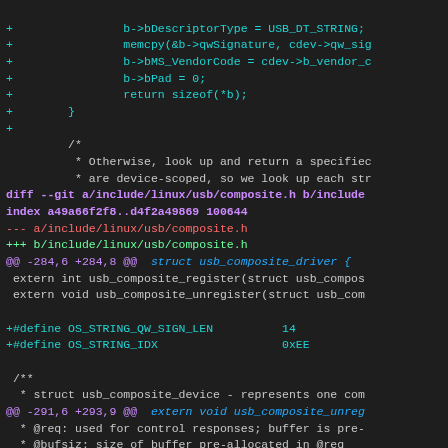[Figure (screenshot): A code diff view showing changes to Linux USB composite driver source files, with cyan added lines, white context lines, purple diff headers, and magenta hunk markers on a dark background.]